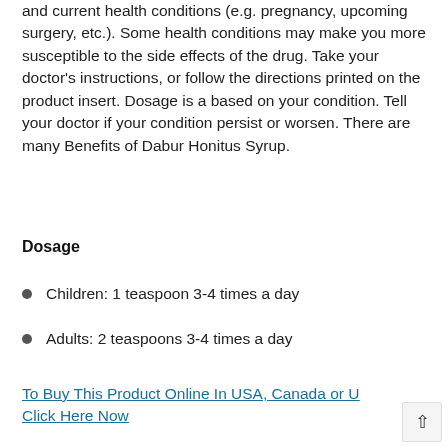and current health conditions (e.g. pregnancy, upcoming surgery, etc.). Some health conditions may make you more susceptible to the side effects of the drug. Take your doctor's instructions, or follow the directions printed on the product insert. Dosage is a based on your condition. Tell your doctor if your condition persist or worsen. There are many Benefits of Dabur Honitus Syrup.
Dosage
Children: 1 teaspoon 3-4 times a day
Adults: 2 teaspoons 3-4 times a day
To Buy This Product Online In USA, Canada or U... Click Here Now